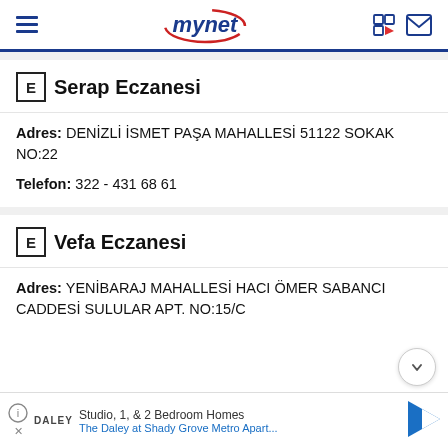mynet
Serap Eczanesi
Adres: DENİZLİ İSMET PAŞA MAHALLESİ 51122 SOKAK NO:22
Telefon: 322 - 431 68 61
Vefa Eczanesi
Adres: YENİBARAJ MAHALLESİ HACI ÖMER SABANCI CADDESİ SULULAR APT. NO:15/C
Studio, 1, & 2 Bedroom Homes The Daley at Shady Grove Metro Apart...